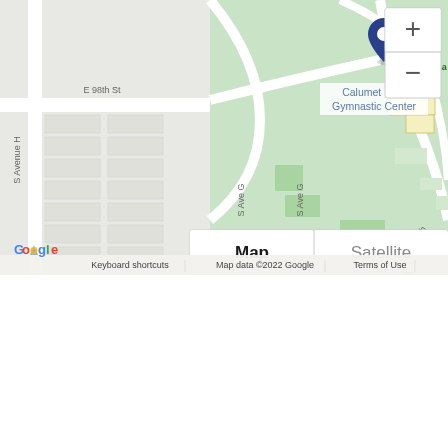[Figure (map): Google Map showing Calumet Park Gymnastic Center area with streets E 98th St, S Avenue H, S Ave G, S Crilly Dr, and Calumet Ba (park). A blue location pin marks the Calumet Park Gymnastic Center. Map/Satellite toggle buttons and zoom controls visible. Google logo and map attribution at bottom.]